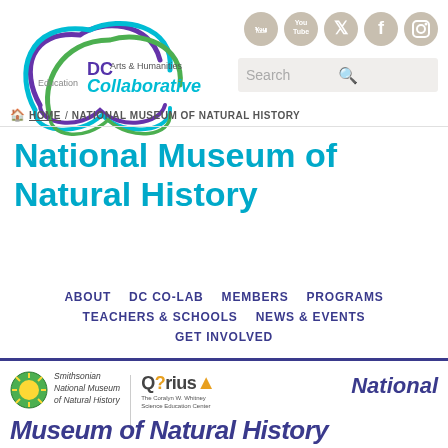[Figure (logo): DC Education Arts & Humanities Collaborative logo with colorful cloud/swirl design]
[Figure (logo): Social media icons: YouTube, Twitter, Facebook, Instagram (circular, beige/tan color)]
[Figure (other): Search bar with magnifying glass icon]
HOME / NATIONAL MUSEUM OF NATURAL HISTORY
National Museum of Natural History
ABOUT   DC CO-LAB   MEMBERS   PROGRAMS   TEACHERS & SCHOOLS   NEWS & EVENTS   GET INVOLVED
[Figure (logo): Smithsonian National Museum of Natural History logo with sun icon and italic text]
[Figure (logo): Q?rius The Coralyn W. Whitney Science Education Center logo]
National